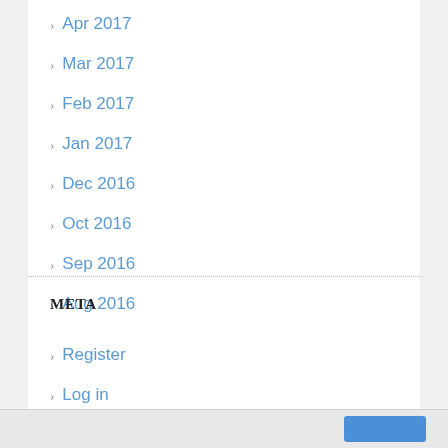Apr 2017
Mar 2017
Feb 2017
Jan 2017
Dec 2016
Oct 2016
Sep 2016
Aug 2016
META
Register
Log in